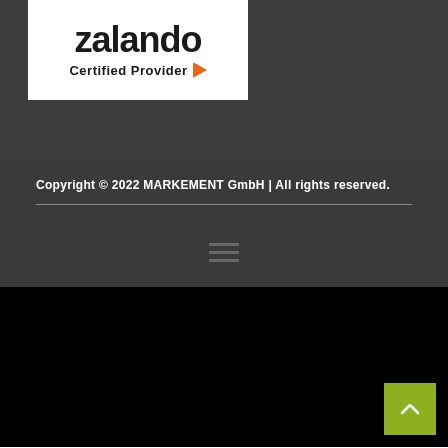[Figure (logo): Zalando Certified Provider logo — white rectangle with 'zalando' text in large bold black font and 'Certified Provider' text with an orange play-button arrow icon]
Copyright © 2022 MARKEMENT GmbH | All rights reserved.
[Figure (other): Hamburger menu icon (three horizontal lines) centered on dark grey background]
[Figure (other): Black background section with a yellow-green back-to-top button (chevron up arrow) in the bottom-right corner]